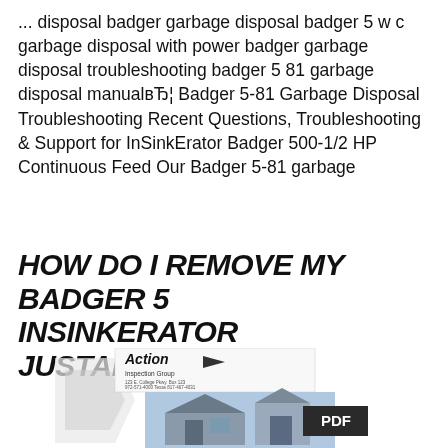... disposal badger garbage disposal badger 5 w c garbage disposal with power badger garbage disposal troubleshooting badger 5 81 garbage disposal manualвЂ¦ Badger 5-81 Garbage Disposal Troubleshooting Recent Questions, Troubleshooting & Support for InSinkErator Badger 500-1/2 HP Continuous Feed Our Badger 5-81 garbage
HOW DO I REMOVE MY BADGER 5 INSINKERATOR JUSTANSWER
[Figure (other): A PDF thumbnail showing a company letterhead with a logo reading 'Action Inspection Group', contact details, a photo of a house/building, and a PDF label badge.]